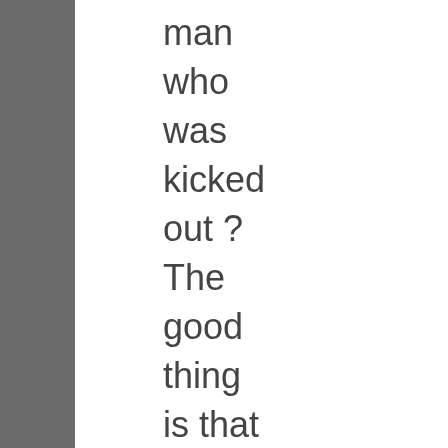man who was kicked out ? The good thing is that in 2 Cor., we find that he has repented and been restored to the body.